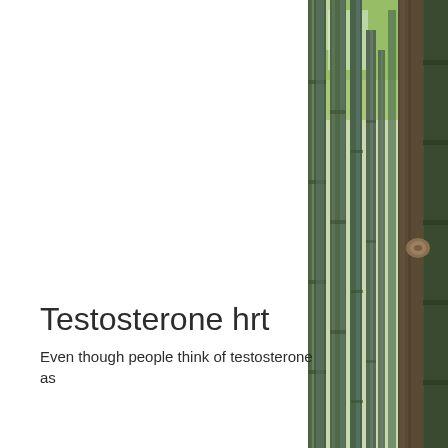[Figure (photo): Close-up photo of tall bamboo stalks and tree trunks in a green outdoor setting, viewed from below looking up, occupying the right edge of the page.]
Testosterone hrt
Even though people think of testosterone as